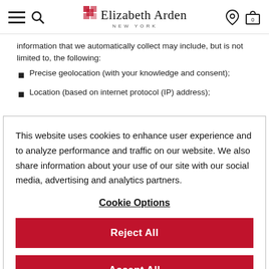Elizabeth Arden New York
information that we automatically collect may include, but is not limited to, the following:
Precise geolocation (with your knowledge and consent);
Location (based on internet protocol (IP) address);
This website uses cookies to enhance user experience and to analyze performance and traffic on our website. We also share information about your use of our site with our social media, advertising and analytics partners.
Cookie Options
Reject All
Accept All